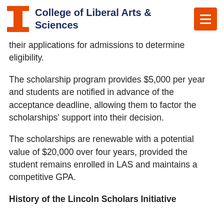College of Liberal Arts & Sciences
their applications for admissions to determine eligibility.
The scholarship program provides $5,000 per year and students are notified in advance of the acceptance deadline, allowing them to factor the scholarships' support into their decision.
The scholarships are renewable with a potential value of $20,000 over four years, provided the student remains enrolled in LAS and maintains a competitive GPA.
History of the Lincoln Scholars Initiative